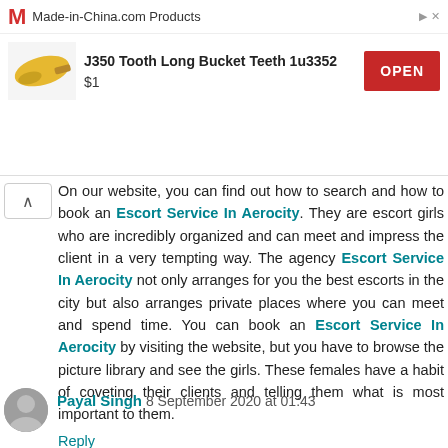[Figure (other): Advertisement banner for Made-in-China.com showing J350 Tooth Long Bucket Teeth 1u3352 product for $1 with an OPEN button]
On our website, you can find out how to search and how to book an Escort Service In Aerocity. They are escort girls who are incredibly organized and can meet and impress the client in a very tempting way. The agency Escort Service In Aerocity not only arranges for you the best escorts in the city but also arranges private places where you can meet and spend time. You can book an Escort Service In Aerocity by visiting the website, but you have to browse the picture library and see the girls. These females have a habit of coveting their clients and telling them what is most important to them.
Reply
Payal Singh 8 September 2020 at 01:43